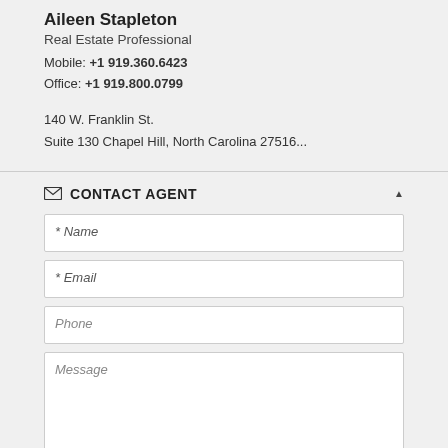Aileen Stapleton
Real Estate Professional
Mobile: +1 919.360.6423
Office: +1 919.800.0799
140 W. Franklin St.
Suite 130 Chapel Hill, North Carolina 27516...
CONTACT AGENT
* Name
* Email
Phone
Message